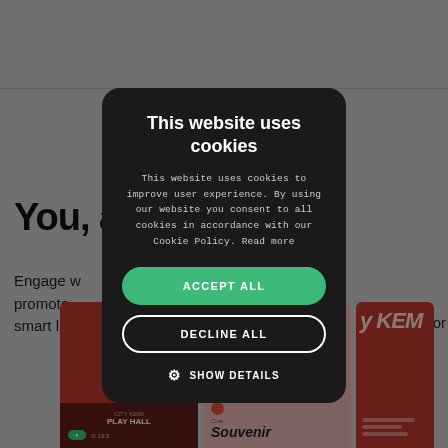[Figure (screenshot): Background website page showing partial text 'You, a' and 'Engage w... promote... creator smart lin...' with red music card thumbnails at the bottom]
This website uses cookies
This website uses cookies to improve user experience. By using our website you consent to all cookies in accordance with our Cookie Policy. Read more
ACCEPT ALL
DECLINE ALL
SHOW DETAILS